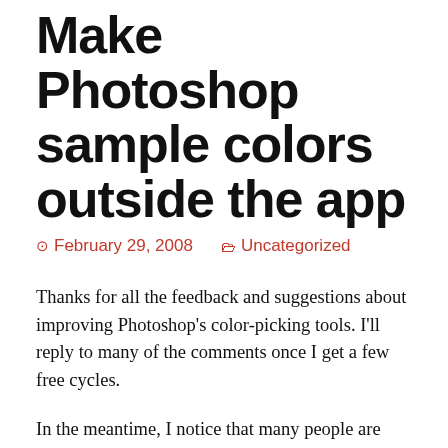Make Photoshop sample colors outside the app
February 29, 2008   Uncategorized
Thanks for all the feedback and suggestions about improving Photoshop's color-picking tools.  I'll reply to many of the comments once I get a few free cycles.
In the meantime, I notice that many people are asking for Photoshop to gain the ability to sample colors from outside the application.  That capability is there already: grab the Eyedropper Tool, then simply click and hold on a document, then drag elsewhere on the screen.  Notice that the foreground color on the toolbar keeps updating as you move your mouse.  When you let go, the sampled color will